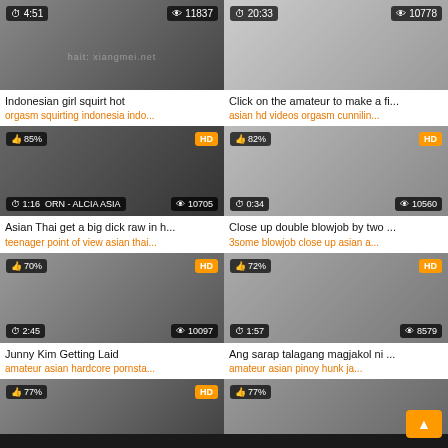[Figure (screenshot): Video thumbnail grid showing adult video website with 8 thumbnails in 2-column layout]
Indonesian girl squirt hot
orgasm squirting indonesia indo...
Click on the amateur to make a fi...
asian hd videos orgasm cunnilin...
Asian Thai get a big dick raw in h...
teenager point of view asian thai...
Close up double blowjob by two ...
3some blowjob close up asian a...
Junny Kim Getting Laid
amateur asian hardcore pornsta...
Ang sarap talagang magjakol ni ...
amateur asian pinoy hunk ja...